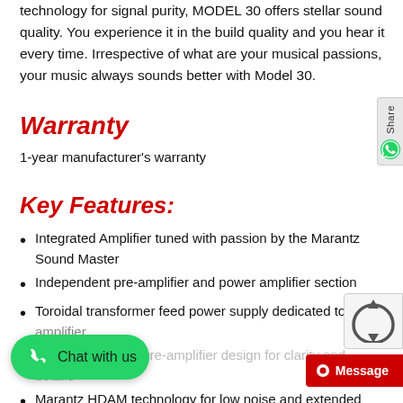technology for signal purity, MODEL 30 offers stellar sound quality. You experience it in the build quality and you hear it every time. Irrespective of what are your musical passions, your music always sounds better with Model 30.
Warranty
1-year manufacturer's warranty
Key Features:
Integrated Amplifier tuned with passion by the Marantz Sound Master
Independent pre-amplifier and power amplifier section
Toroidal transformer feed power supply dedicated to pre-amplifier
Current feedback pre-amplifier design for clarity and details
Marantz HDAM technology for low noise and extended